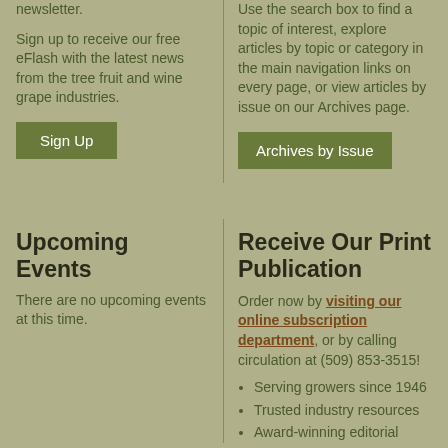newsletter.
Sign up to receive our free eFlash with the latest news from the tree fruit and wine grape industries.
Use the search box to find a topic of interest, explore articles by topic or category in the main navigation links on every page, or view articles by issue on our Archives page.
Sign Up
Archives by Issue
Upcoming Events
There are no upcoming events at this time.
Receive Our Print Publication
Order now by visiting our online subscription department, or by calling circulation at (509) 853-3515!
Serving growers since 1946
Trusted industry resources
Award-winning editorial